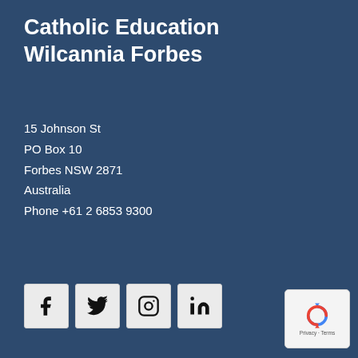Catholic Education Wilcannia Forbes
15 Johnson St
PO Box 10
Forbes NSW 2871
Australia
Phone +61 2 6853 9300
[Figure (other): Social media icons for Facebook, Twitter, Instagram, and LinkedIn in light gray square boxes]
[Figure (map): Outline map of New South Wales, Australia with white filled eastern region and dotted markers]
Find a School
About Us